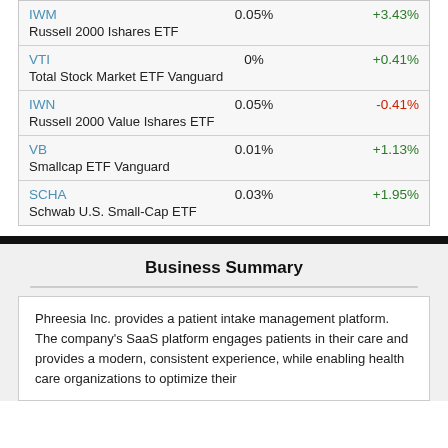| Ticker / Name | Expense Ratio | Change |
| --- | --- | --- |
| IWM
Russell 2000 Ishares ETF | 0.05% | +3.43% |
| VTI
Total Stock Market ETF Vanguard | 0% | +0.41% |
| IWN
Russell 2000 Value Ishares ETF | 0.05% | -0.41% |
| VB
Smallcap ETF Vanguard | 0.01% | +1.13% |
| SCHA
Schwab U.S. Small-Cap ETF | 0.03% | +1.95% |
Business Summary
Phreesia Inc. provides a patient intake management platform. The company's SaaS platform engages patients in their care and provides a modern, consistent experience, while enabling health care organizations to optimize their